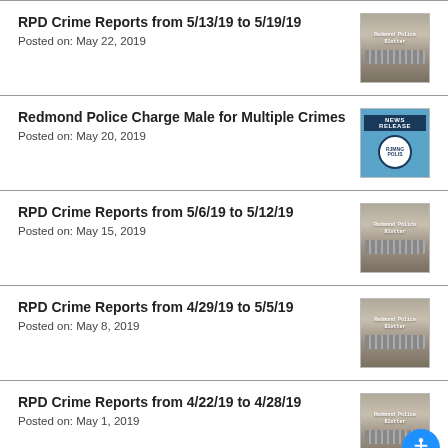RPD Crime Reports from 5/13/19 to 5/19/19
Posted on: May 22, 2019
Redmond Police Charge Male for Multiple Crimes
Posted on: May 20, 2019
RPD Crime Reports from 5/6/19 to 5/12/19
Posted on: May 15, 2019
RPD Crime Reports from 4/29/19 to 5/5/19
Posted on: May 8, 2019
RPD Crime Reports from 4/22/19 to 4/28/19
Posted on: May 1, 2019
RPD Crime Reports from 4/15/19 to 4/21/19